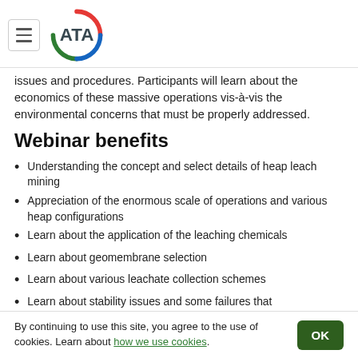ATA logo and navigation
issues and procedures. Participants will learn about the economics of these massive operations vis-à-vis the environmental concerns that must be properly addressed.
Webinar benefits
Understanding the concept and select details of heap leach mining
Appreciation of the enormous scale of operations and various heap configurations
Learn about the application of the leaching chemicals
Learn about geomembrane selection
Learn about various leachate collection schemes
Learn about stability issues and some failures that
By continuing to use this site, you agree to the use of cookies. Learn about how we use cookies.